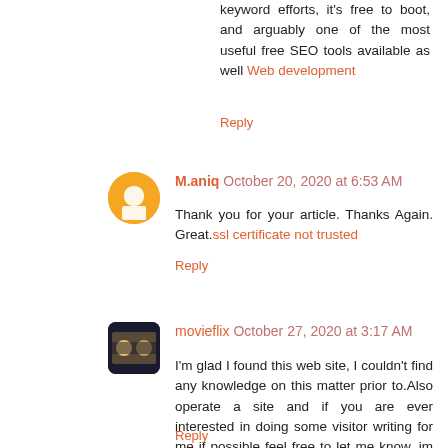keyword efforts, it's free to boot, and arguably one of the most useful free SEO tools available as well Web development
Reply
M.aniq October 20, 2020 at 6:53 AM
Thank you for your article. Thanks Again. Great.ssl certificate not trusted
Reply
movieflix October 27, 2020 at 3:17 AM
I'm glad I found this web site, I couldn't find any knowledge on this matter prior to.Also operate a site and if you are ever interested in doing some visitor writing for me if possible feel free to let me know, im always look for people to check out my web site. שרת וירטואלי
Reply